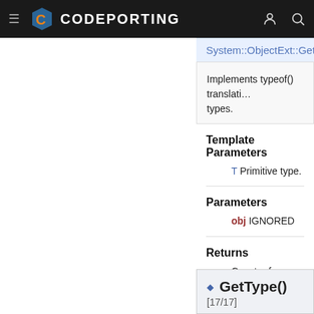CODEPORTING
System::ObjectExt::GetType
Implements typeof() translation for primitive types.
Template Parameters
T Primitive type.
Parameters
obj IGNORED
Returns
Const reference to Ty describing the type of
GetType() [17/17]